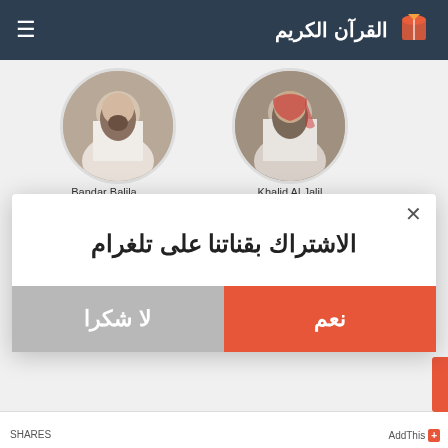القرآن الكريم
[Figure (photo): Circular profile photo of Bandar Balila]
Bandar Balila
[Figure (photo): Circular profile photo of Khalid Al Jalil]
Khalid Al Jalil
الاشتراك بقناتنا على تلغرام
نعم
لا شكرا
AddThis +